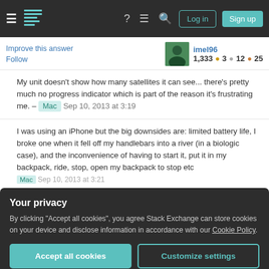Stack Exchange navigation bar with Log in and Sign up buttons
Improve this answer
Follow
imel96
1,333  3  12  25
My unit doesn't show how many satellites it can see... there’s pretty much no progress indicator which is part of the reason it’s frustrating me. – Mac Sep 10, 2013 at 3:19
I was using an iPhone but the big downsides are: limited battery life, I broke one when it fell off my handlebars into a river (in a biologic case), and the inconvenience of having to start it, put it in my backpack, ride, stop, open my backpack to stop etc Mac Sep 10, 2013 at 3:21
Your privacy
By clicking “Accept all cookies”, you agree Stack Exchange can store cookies on your device and disclose information in accordance with our Cookie Policy.
Accept all cookies
Customize settings
Personally, I’ve the exact opposite experience. My